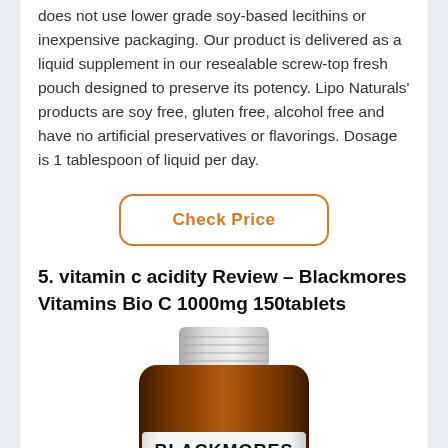does not use lower grade soy-based lecithins or inexpensive packaging. Our product is delivered as a liquid supplement in our resealable screw-top fresh pouch designed to preserve its potency. Lipo Naturals' products are soy free, gluten free, alcohol free and have no artificial preservatives or flavorings. Dosage is 1 tablespoon of liquid per day.
[Figure (other): Orange-outlined rounded rectangle button with text 'Check Price' in orange]
5. vitamin c acidity Review – Blackmores Vitamins Bio C 1000mg 150tablets
[Figure (photo): Photo of a Blackmores Cold Relief supplement bottle with brown glass and white cap, showing BLACKMORES brand name and COLD RELIEF label in green]